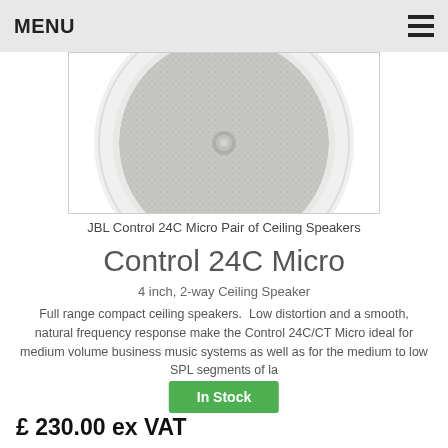MENU
[Figure (photo): Overhead view of a round white ceiling speaker (JBL Control 24C Micro) with grey fabric grille, partially cropped at top]
JBL Control 24C Micro Pair of Ceiling Speakers
Control 24C Micro
4 inch, 2-way Ceiling Speaker
Full range compact ceiling speakers.  Low distortion and a smooth, natural frequency response make the Control 24C/CT Micro ideal for medium volume business music systems as well as for the medium to low SPL segments of la
In Stock
£ 230.00 ex VAT